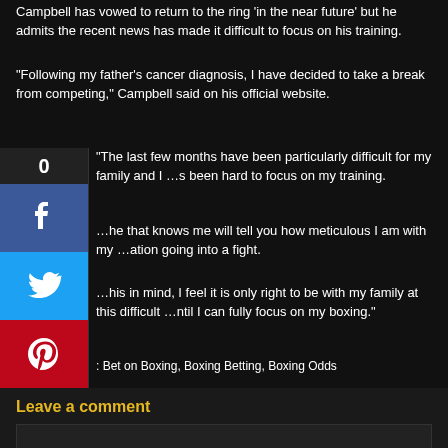Campbell has vowed to return to the ring 'in the near future' but he admits the recent news has made it difficult to focus on his training.
“Following my father’s cancer diagnosis, I have decided to take a break from competing,” Campbell said on his official website.
“The last few months have been particularly difficult for my family and I …s been hard to focus on my training.
…he that knows me will tell you how meticulous I am with my …ation going into a fight.
…his in mind, I feel it is only right to be with my family at this difficult …ntil I can fully focus on my boxing.”
: Bet on Boxing, Boxing Betting, Boxing Odds
[Figure (infographic): Social sharing sidebar with count 0, Facebook button (blue), Twitter button (blue), Pinterest button (red)]
Leave a comment
Previous Post
◄ Boxing: Amir Khan teams up with Al Haymon
Next Post
World Cup 2014: Marc Wilmots proud to extend ►